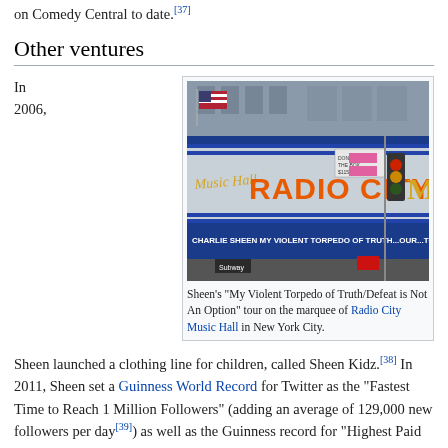on Comedy Central to date.[37]
Other ventures
In 2006,
[Figure (photo): Photo of Radio City Music Hall marquee showing 'RADIO CITY' in large orange letters on blue background, with text about Charlie Sheen's 'My Violent Torpedo of Truth/Defeat is Not An Option' tour. An American flag and traffic light are visible.]
Sheen's "My Violent Torpedo of Truth/Defeat is Not An Option" tour on the marquee of Radio City Music Hall in New York City.
Sheen launched a clothing line for children, called Sheen Kidz.[38] In 2011, Sheen set a Guinness World Record for Twitter as the "Fastest Time to Reach 1 Million Followers" (adding an average of 129,000 new followers per day[39]) as well as the Guinness record for "Highest Paid TV Actor Per Episode – Current" at $1.25 million while he was a part of the cast of Two and a Half Men sitcom.[40]